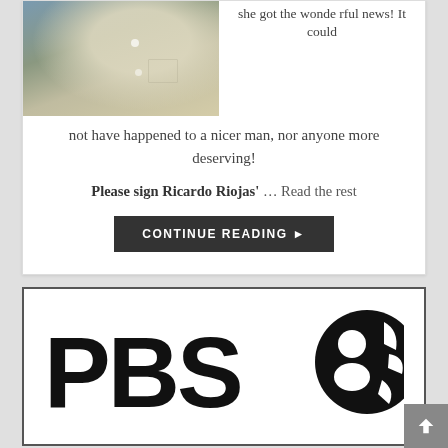[Figure (photo): Partial photograph of a person wearing a light khaki button-up shirt with a patterned fabric visible on the left side]
she got the wonderful news! It could not have happened to a nicer man, nor anyone more deserving!
Please sign Ricardo Riojas' … Read the rest
CONTINUE READING ▶
[Figure (logo): PBS logo — large bold black letters PBS followed by the PBS circle head logo icon]